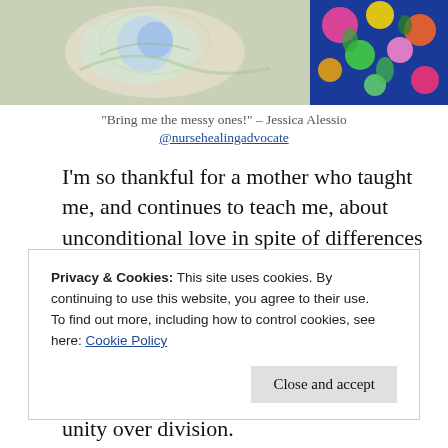[Figure (photo): Two photos side by side: left shows a decorative plate or artwork with blue and green design on a textured background; right shows a colorful tropical floral fabric or pattern with bright pinks, yellows, greens on dark blue.]
“Bring me the messy ones!” – Jessica Alessio
@nursehealingadvocate
I’m so thankful for a mother who taught me, and continues to teach me, about unconditional love in spite of differences in beliefs, appearances, and talents.
Privacy & Cookies: This site uses cookies. By continuing to use this website, you agree to their use.
To find out more, including how to control cookies, see here: Cookie Policy
unity over division.